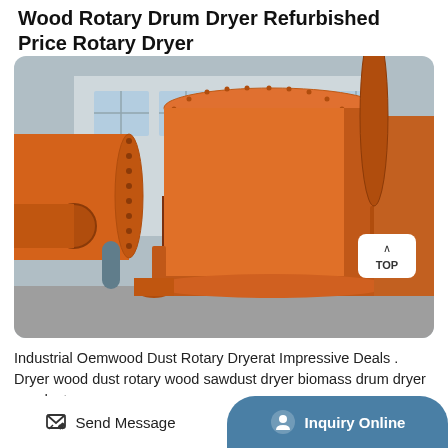Wood Rotary Drum Dryer Refurbished Price Rotary Dryer
[Figure (photo): Large orange industrial rotary drum dryer equipment photographed outdoors at a factory yard. Two large cylindrical orange metal drums are visible, with flanges, bolts, ladders, and structural fins. Grey concrete factory building visible in background.]
Industrial Oemwood Dust Rotary Dryerat Impressive Deals . Dryer wood dust rotary wood sawdust dryer biomass drum dryer sawdust
Send Message
Inquiry Online